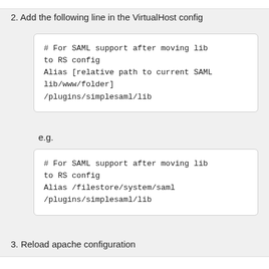2. Add the following line in the VirtualHost config
# For SAML support after moving lib to RS config
Alias [relative path to current SAML lib/www/folder]
/plugins/simplesaml/lib
e.g.
# For SAML support after moving lib to RS config
Alias /filestore/system/saml
/plugins/simplesaml/lib
3. Reload apache configuration